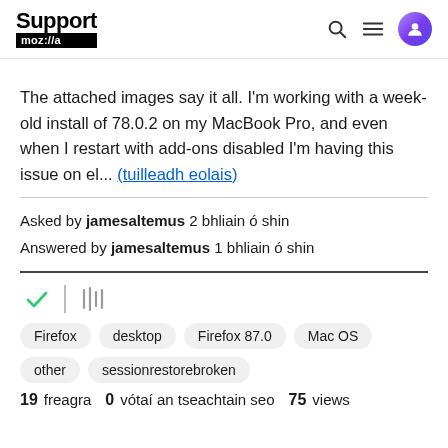Support mozilla//a
The attached images say it all. I'm working with a week-old install of 78.0.2 on my MacBook Pro, and even when I restart with add-ons disabled I'm having this issue on el... (tuilleadh eolais)
Asked by jamesaltemus 2 bhliain ó shin
Answered by jamesaltemus 1 bhliain ó shin
Firefox  desktop  Firefox 87.0  Mac OS  other  sessionrestorebroken
19 freagra  0 vótaí an tseachtain seo  75 views